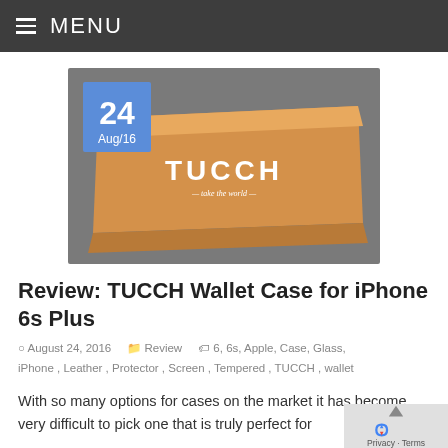MENU
[Figure (photo): A cardboard TUCCH branded box on a gray surface, with a blue date badge overlay showing '24 Aug/16']
Review: TUCCH Wallet Case for iPhone 6s Plus
August 24, 2016   Review   6, 6s, Apple, Case, Glass, iPhone, Leather, Protector, Screen, Tempered, TUCCH, wallet
With so many options for cases on the market it has become very difficult to pick one that is truly perfect for